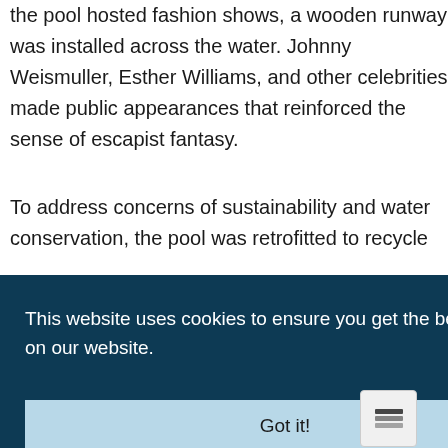the pool hosted fashion shows, a wooden runway was installed across the water. Johnny Weismuller, Esther Williams, and other celebrities made public appearances that reinforced the sense of escapist fantasy.
To address concerns of sustainability and water conservation, the pool was retrofitted to recycle
d in 2014 r
This website uses cookies to ensure you get the best experience on our website.
Got it!